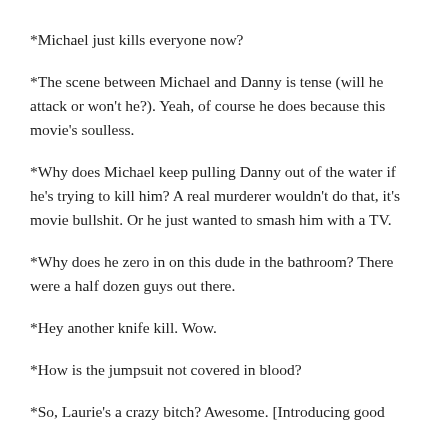*Michael just kills everyone now?
*The scene between Michael and Danny is tense (will he attack or won't he?). Yeah, of course he does because this movie's soulless.
*Why does Michael keep pulling Danny out of the water if he's trying to kill him? A real murderer wouldn't do that, it's movie bullshit. Or he just wanted to smash him with a TV.
*Why does he zero in on this dude in the bathroom? There were a half dozen guys out there.
*Hey another knife kill. Wow.
*How is the jumpsuit not covered in blood?
*So, Laurie's a crazy bitch? Awesome. [Introducing good